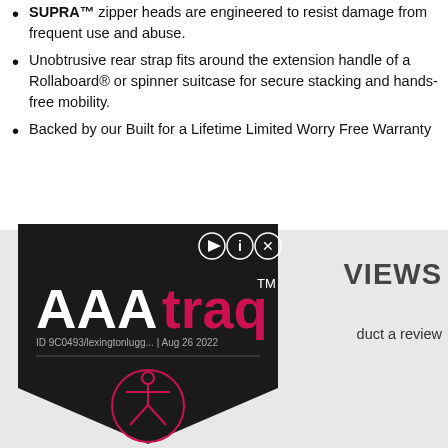SUPRA™ zipper heads are engineered to resist damage from frequent use and abuse.
Unobtrusive rear strap fits around the extension handle of a Rollaboard® or spinner suitcase for secure stacking and hands-free mobility.
Backed by our Built for a Lifetime Limited Worry Free Warranty
[Figure (logo): AAAtraq widget overlay showing logo with ID 9C0493/lexingtonlugg... | Aug 26 2022 and accessibility icon]
VIEWS
duct a review